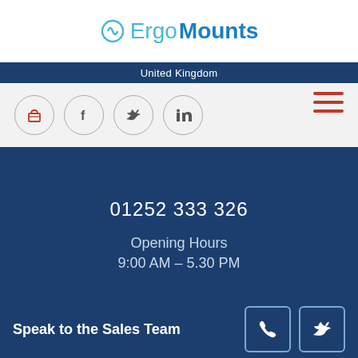ErgoMounts
United Kingdom
01252 333 326
Opening Hours
9:00 AM – 5.30 PM
©2022 ErgoMounts Ltd. All Rights Reserved | Registered
Speak to the Sales Team